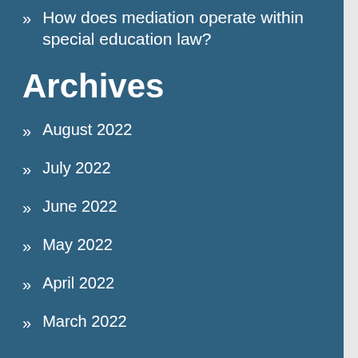How does mediation operate within special education law?
Archives
August 2022
July 2022
June 2022
May 2022
April 2022
March 2022